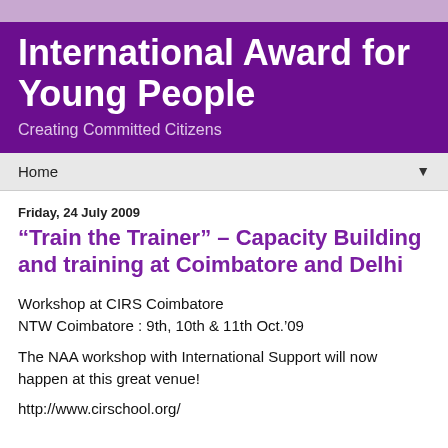International Award for Young People
Creating Committed Citizens
Home
Friday, 24 July 2009
“Train the Trainer” – Capacity Building and training at Coimbatore and Delhi
Workshop at CIRS Coimbatore
NTW Coimbatore : 9th, 10th & 11th Oct.’09
The NAA workshop with International Support will now happen at this great venue!
http://www.cirschool.org/